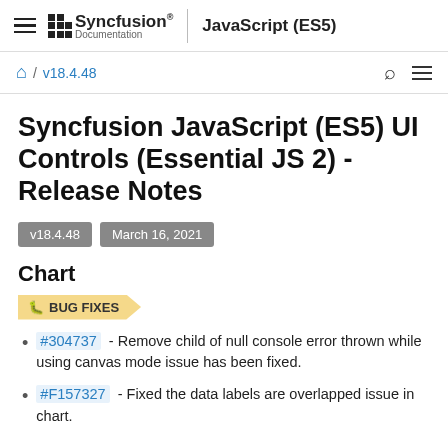Syncfusion Documentation | JavaScript (ES5)
⌂ / v18.4.48
Syncfusion JavaScript (ES5) UI Controls (Essential JS 2) - Release Notes
v18.4.48   March 16, 2021
Chart
🐛 BUG FIXES
#304737 - Remove child of null console error thrown while using canvas mode issue has been fixed.
#F157327 - Fixed the data labels are overlapped issue in chart.